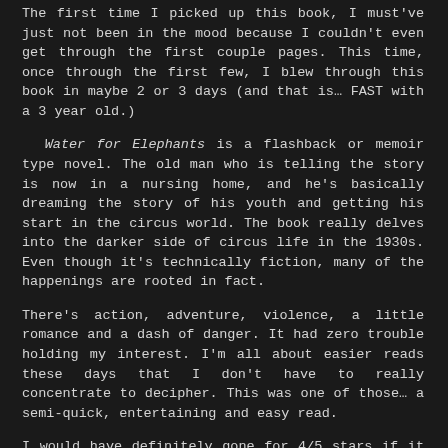The first time I picked up this book, I must've just not been in the mood because I couldn't even get through the first couple pages. This time, once through the first few, I blew through this book in maybe 2 or 3 days (and that is… FAST with a 3 year old.)
Water for Elephants is a flashback or memoir type novel. The old man who is telling the story is now in a nursing home, and he's basically dreaming the story of his youth and getting his start in the circus world. The book really delves into the darker side of circus life in the 1930s. Even though it's technically fiction, many of the happenings are rooted in fact.
There's action, adventure, violence, a little romance and a dash of danger. It had zero trouble holding my interest. I'm all about easier reads these days that I don't have to really concentrate to decipher. This was one of those… a semi-quick, entertaining and easy read.
I would have definitely gone for 4/5 stars if it weren't for the ending. The ending absolutely did it for me, and I'm all in at 5 of 5 stars.